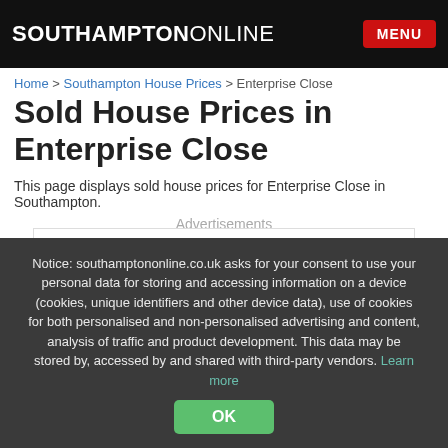SOUTHAMPTONONLINE  MENU
Home > Southampton House Prices > Enterprise Close
Sold House Prices in Enterprise Close
This page displays sold house prices for Enterprise Close in Southampton.
Advertisements
[Figure (other): Advertisement placeholder box]
Notice: southamptononline.co.uk asks for your consent to use your personal data for storing and accessing information on a device (cookies, unique identifiers and other device data), use of cookies for both personalised and non-personalised advertising and content, analysis of traffic and product development. This data may be stored by, accessed by and shared with third-party vendors. Learn more
OK